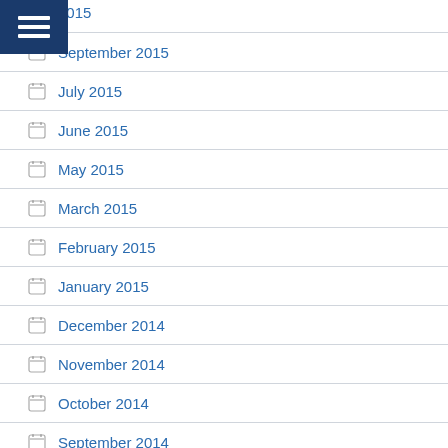2015 (partial, cut off at top)
September 2015
July 2015
June 2015
May 2015
March 2015
February 2015
January 2015
December 2014
November 2014
October 2014
September 2014
August 2014
May 2014
March 2014